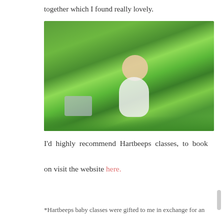together which I found really lovely.
[Figure (photo): A baby with a pink bow in her hair sits on green grass/mat, holding a toy. In the background, other babies and adults are visible. A grey storage basket with fabric inside is to the baby's left.]
I'd highly recommend Hartbeeps classes, to book on visit the website here.
*Hartbeeps baby classes were gifted to me in exchange for an